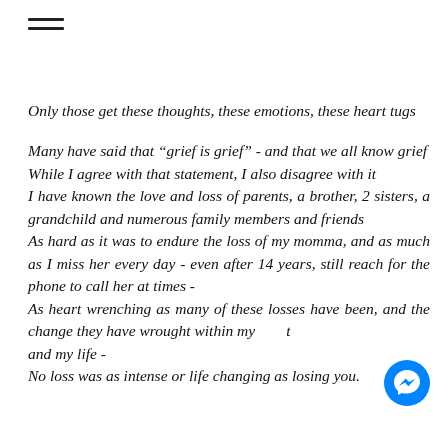Only those get these thoughts, these emotions, these heart tugs
Many have said that “grief is grief” - and that we all know grief
While I agree with that statement, I also disagree with it
I have known the love and loss of parents, a brother, 2 sisters, a grandchild and numerous family members and friends
As hard as it was to endure the loss of my momma, and as much as I miss her every day - even after 14 years, still reach for the phone to call her at times -
As heart wrenching as many of these losses have been, and the change they have wrought within my [heart] and my life -
No loss was as intense or life changing as losing you.